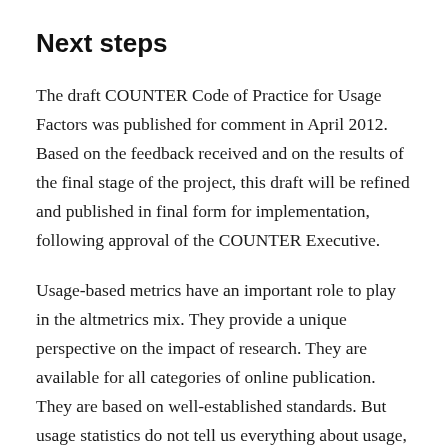Next steps
The draft COUNTER Code of Practice for Usage Factors was published for comment in April 2012. Based on the feedback received and on the results of the final stage of the project, this draft will be refined and published in final form for implementation, following approval of the COUNTER Executive.
Usage-based metrics have an important role to play in the altmetrics mix. They provide a unique perspective on the impact of research. They are available for all categories of online publication. They are based on well-established standards. But usage statistics do not tell us everything about usage, let alone impact, and they should be supplemented by other metrics, as well